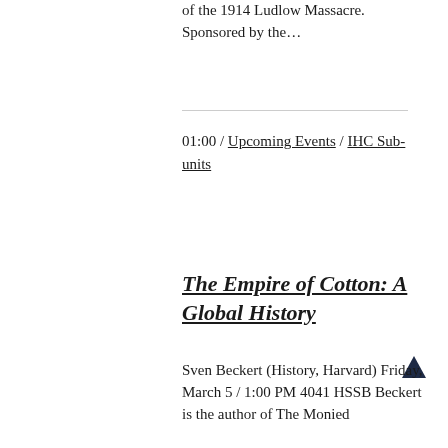of the 1914 Ludlow Massacre. Sponsored by the…
01:00 / Upcoming Events / IHC Sub-units
The Empire of Cotton: A Global History
Sven Beckert (History, Harvard) Friday, March 5 / 1:00 PM 4041 HSSB Beckert is the author of The Monied